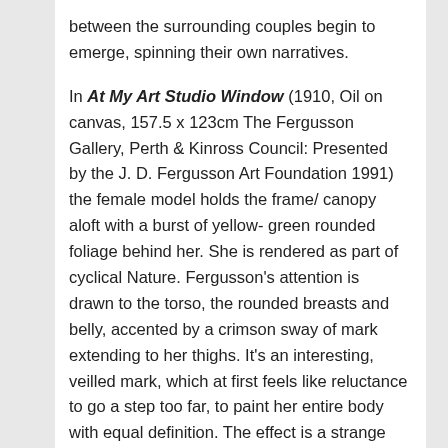between the surrounding couples begin to emerge, spinning their own narratives.
In At My Art Studio Window (1910, Oil on canvas, 157.5 x 123cm The Fergusson Gallery, Perth & Kinross Council: Presented by the J. D. Fergusson Art Foundation 1991) the female model holds the frame/ canopy aloft with a burst of yellow- green rounded foliage behind her. She is rendered as part of cyclical Nature. Fergusson's attention is drawn to the torso, the rounded breasts and belly, accented by a crimson sway of mark extending to her thighs. It's an interesting, veilled mark, which at first feels like reluctance to go a step too far, to paint her entire body with equal definition. The effect is a strange smear, at odds with the rest of the paint handling, but accentuating womanly fertility. Like all of Fergusson's women, attitude through body language is the primary means of communication, rather than facial expression. Here it's the tilt of the head beholding the artist/ viewer and the way she supports the picture plain like an internal caryatid, dominating the frame. As a professional model she's